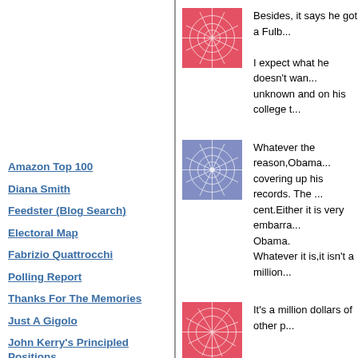Amazon Top 100
Diana Smith
Feedster (Blog Search)
Electoral Map
Fabrizio Quattrocchi
Polling Report
Thanks For The Memories
Just A Gigolo
John Kerry's Principled Positions
CIA Fact Book
Economist Countries
Google - Site
TypePad
Google
Besides, it says he got a Fulb... I expect what he doesn't wan... unknown and on his college t...
Whatever the reason,Obama... covering up his records. The ... cent.Either it is very embarra... Obama. Whatever it is,it isn't a million...
It's a million dollars of other p...
I think Clarice has it correct. I... no hard evidence can be allo...